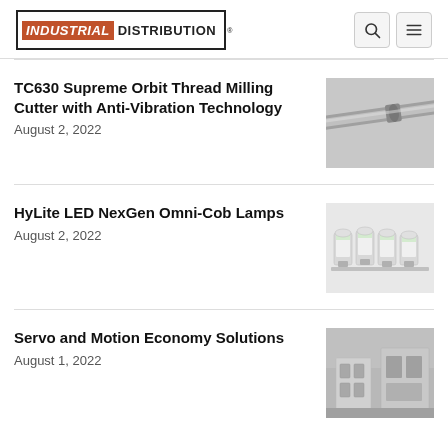INDUSTRIAL DISTRIBUTION
TC630 Supreme Orbit Thread Milling Cutter with Anti-Vibration Technology
August 2, 2022
[Figure (photo): Close-up photo of a thread milling cutter tool, metallic cylindrical rod]
HyLite LED NexGen Omni-Cob Lamps
August 2, 2022
[Figure (photo): Row of four LED corn cob lamps, white/silver colored]
Servo and Motion Economy Solutions
August 1, 2022
[Figure (photo): Industrial servo and motion equipment, gray machinery components]